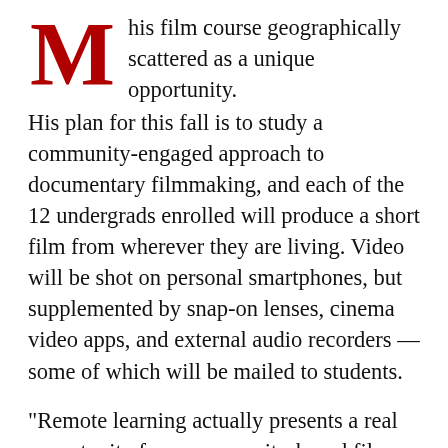his film course geographically scattered as a unique opportunity. His plan for this fall is to study a community-engaged approach to documentary filmmaking, and each of the 12 undergrads enrolled will produce a short film from wherever they are living. Video will be shot on personal smartphones, but supplemented by snap-on lenses, cinema video apps, and external audio recorders — some of which will be mailed to students.
“Remote learning actually presents a real opportunity for a community-based film workshop, since students can now document communities far beyond campus — communities they’ve likely grown up in, or spent significant time in,” said the Briggs-Copeland Lecturer in English, who will lead the workshop “Get Real: The Art of Community-Based